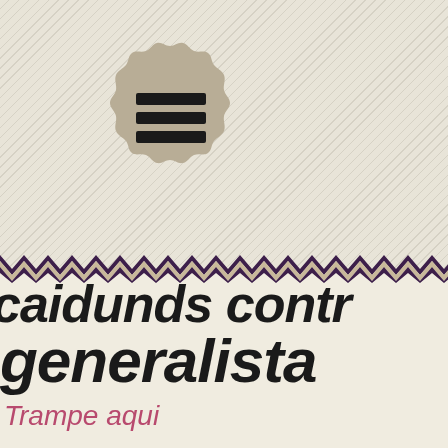[Figure (logo): Scalloped badge/seal shape in tan/beige color with three horizontal black bars (hamburger menu icon) in the center, on a diagonal striped background]
caidunds contr
generalista
Trampe aqui